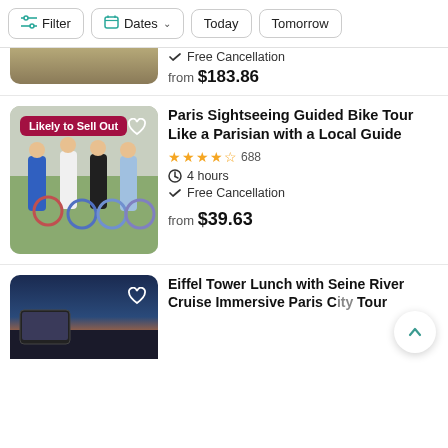Filter | Dates | Today | Tomorrow
Free Cancellation
from $183.86
Paris Sightseeing Guided Bike Tour Like a Parisian with a Local Guide
688 reviews, 4 hours, Free Cancellation, from $39.63
Eiffel Tower Lunch with Seine River Cruise Immersive Paris City Tour